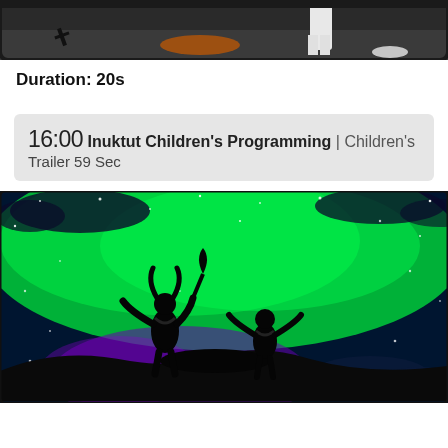[Figure (photo): Top portion of a photo showing people outdoors, partially visible - bodies and feet of people on a street or open area]
Duration: 20s
16:00 Inuktut Children's Programming | Children's Trailer 59 Sec
[Figure (illustration): Animated illustration of two silhouetted figures standing on a rock with arms raised, one holding a staff, against a vivid northern lights (aurora borealis) background with green, blue, and purple sky and stars]